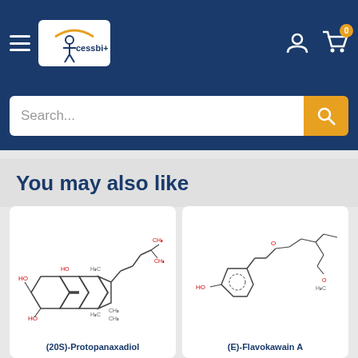[Figure (logo): Xcessbio logo with figure and arc, white background in dark blue header. Hamburger menu on left, user icon and cart (0) on right.]
Search...
You may also like
[Figure (illustration): Chemical structure of (20S)-Protopanaxadiol — a steroid-like compound with multiple rings, CH3 groups, and HO labels in red]
(20S)-Protopanaxadiol
[Figure (illustration): Partial chemical structure of (E)-Flavokawain A — aromatic rings with HO and MeO substituents in red, partially cropped]
(E)-Flavokawain A